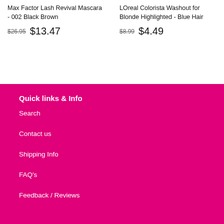Max Factor Lash Revival Mascara - 002 Black Brown
$26.95  $13.47
LOreal Colorista Washout for Blonde Highlighted - Blue Hair
$8.99  $4.49
Quick links & Info
Search
Contact us
Shipping Info
FAQ's
Feedback / Reviews